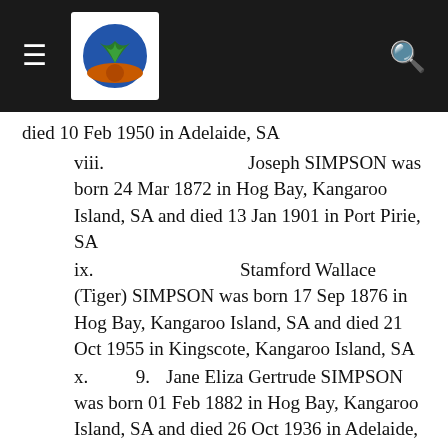≡ [logo] 🔍
died 10 Feb 1950 in Adelaide, SA
viii.   Joseph SIMPSON was born 24 Mar 1872 in Hog Bay, Kangaroo Island, SA and died 13 Jan 1901 in Port Pirie, SA
ix.   Stamford Wallace (Tiger) SIMPSON was born 17 Sep 1876 in Hog Bay, Kangaroo Island, SA and died 21 Oct 1955 in Kingscote, Kangaroo Island, SA
x.   9.   Jane Eliza Gertrude SIMPSON was born 01 Feb 1882 in Hog Bay, Kangaroo Island, SA and died 26 Oct 1936 in Adelaide, SA
xi.   10.   Hannah Elizabeth SIMPSON was born 10 May 1894 in Hog Bay, Kangaroo Island, SA and died 1948 in Swan, WA